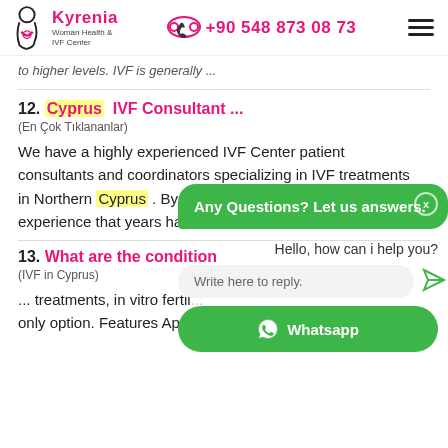Kyrenia Woman Health & IVF Center | +90 548 873 08 73
to higher levels. IVF is generally ...
12. Cyprus IVF Consultant ...
(En Çok Tıklananlar)
We have a highly experienced IVF Center patient consultants and coordinators specializing in IVF treatments in Northern Cyprus . By presenting the knowledge and experience that years hav...
13. What are the condition
(IVF in Cyprus)
... treatments, in vitro fertil... only option. Features Applications to our IVF Center in
[Figure (screenshot): Chat widget overlay with green bubble saying 'Any Questions? Let us answers.', a hello message, a text input field, send button, and a Whatsapp button at the bottom.]